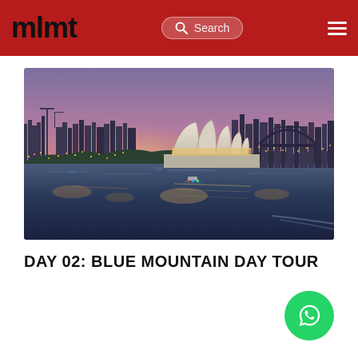mlmt
[Figure (photo): Aerial dusk view of Sydney Opera House and Harbour Bridge with city lights reflecting on the water, taken at twilight with purple and orange sky.]
DAY 02: BLUE MOUNTAIN DAY TOUR